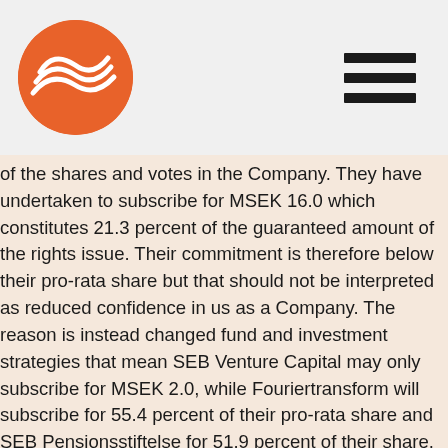[Company logo — orange circle with white wave lines] [Hamburger menu icon]
of the shares and votes in the Company. They have undertaken to subscribe for MSEK 16.0 which constitutes 21.3 percent of the guaranteed amount of the rights issue. Their commitment is therefore below their pro-rata share but that should not be interpreted as reduced confidence in us as a Company. The reason is instead changed fund and investment strategies that mean SEB Venture Capital may only subscribe for MSEK 2.0, while Fouriertransform will subscribe for 55.4 percent of their pro-rata share and SEB Pensionsstiftelse for 51.9 percent of their share.
The proceeds from the new share issue will be used to implement the updated strategy, where the US launch and marketing efforts will use about half of the net proceeds. In addition, approximately 30-40